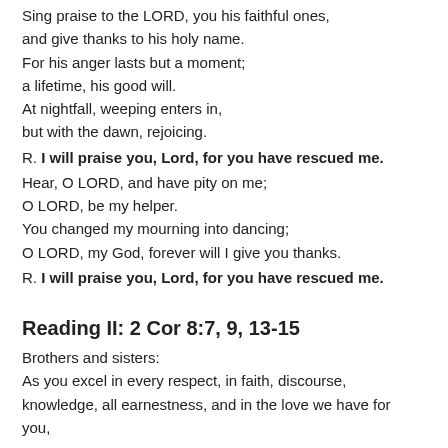Sing praise to the LORD, you his faithful ones,
and give thanks to his holy name.
For his anger lasts but a moment;
a lifetime, his good will.
At nightfall, weeping enters in,
but with the dawn, rejoicing.
R. I will praise you, Lord, for you have rescued me.
Hear, O LORD, and have pity on me;
O LORD, be my helper.
You changed my mourning into dancing;
O LORD, my God, forever will I give you thanks.
R. I will praise you, Lord, for you have rescued me.
Reading II: 2 Cor 8:7, 9, 13-15
Brothers and sisters:
As you excel in every respect, in faith, discourse, knowledge, all earnestness, and in the love we have for you,